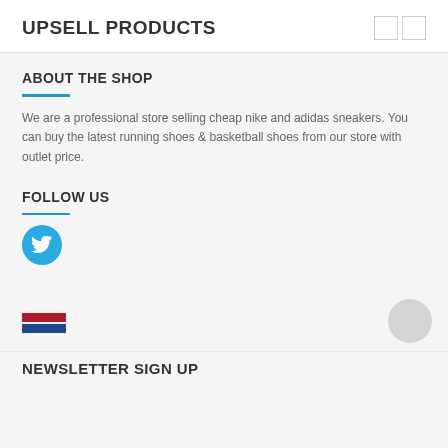UPSELL PRODUCTS
ABOUT THE SHOP
We are a professional store selling cheap nike and adidas sneakers. You can buy the latest running shoes & basketball shoes from our store with outlet price.
FOLLOW US
[Figure (logo): Twitter bird icon in a cyan circular button]
[Figure (illustration): Netherlands flag with red and blue horizontal stripes]
[Figure (other): Gray circular scroll-to-top button]
NEWSLETTER SIGN UP